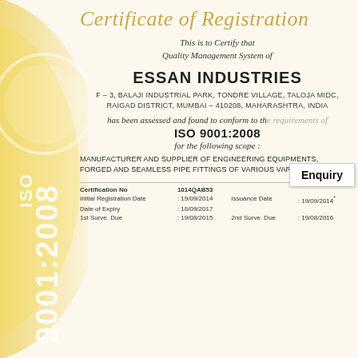Certificate of Registration
This is to Certify that Quality Management System of
ESSAN INDUSTRIES
F – 3, BALAJI INDUSTRIAL PARK, TONDRE VILLAGE, TALOJA MIDC, RAIGAD DISTRICT, MUMBAI – 410208, MAHARASHTRA, INDIA
has been assessed and found to conform to the requirements of
ISO 9001:2008
for the following scope :
MANUFACTURER AND SUPPLIER OF ENGINEERING EQUIPMENTS, FORGED AND SEAMLESS PIPE FITTINGS OF VARIOUS VARIETIES.
| Field | Value | Field2 | Value2 |
| --- | --- | --- | --- |
| Certification No | 1014QAB53 |  |  |
| Initial Registration Date | : 19/09/2014 | Issuance Date | : 19/09/2014 |
| Date of Expiry | : 18/09/2017 |  |  |
| 1st Surve. Due | : 19/08/2015 | 2nd Surve. Due | : 19/08/2016 |